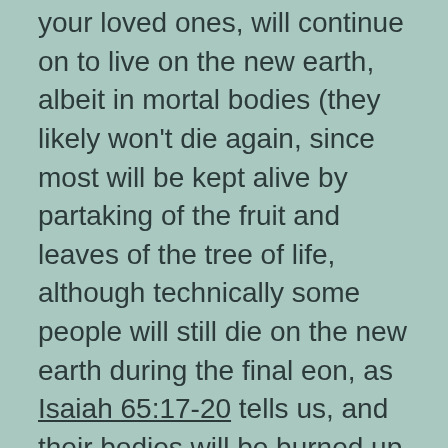your loved ones, will continue on to live on the new earth, albeit in mortal bodies (they likely won't die again, since most will be kept alive by partaking of the fruit and leaves of the tree of life, although technically some people will still die on the new earth during the final eon, as Isaiah 65:17-20 tells us, and their bodies will be burned up in the lake of fire too, but they'll eventually be resurrected again at the end of the eons themselves).

In addition to that, the fact that certain people will have to spend time paying off "the uttermost farthing" on the new earth also tells